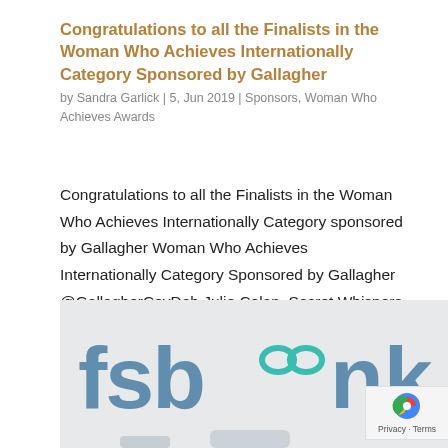Congratulations to all the Finalists in the Woman Who Achieves Internationally Category Sponsored by Gallagher
by Sandra Garlick | 5, Jun 2019 | Sponsors, Woman Who Achieves Awards
Congratulations to all the Finalists in the Woman Who Achieves Internationally Category sponsored by Gallagher Woman Who Achieves Internationally Category Sponsored by Gallagher @GallagherCovDeb Julie Colan, Secret Whispers @secretwhisperss Marina Ibrahim, Bizz Buzz...
[Figure (photo): Photo showing FSB (Federation of Small Businesses) logo banner with teal/blue lettering 'fsb' and partial logo mark, along with partial 'nk' text visible. Bottom of image shows partial view of people or objects.]